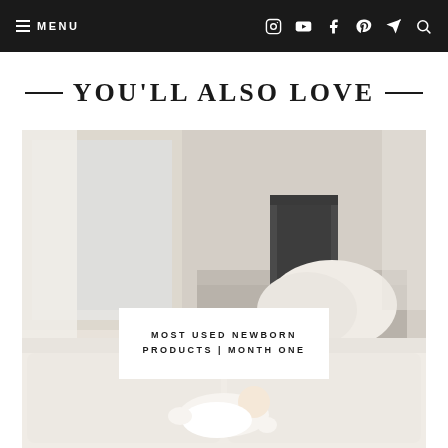MENU | Instagram YouTube Facebook Pinterest Telegram Search
YOU'LL ALSO LOVE
[Figure (photo): Bedroom/nursery scene with a white couch, pillows, a dark humidifier on a dresser, and a newborn baby in white clothing lying on the couch. The room has light curtains and warm neutral tones.]
MOST USED NEWBORN PRODUCTS | MONTH ONE